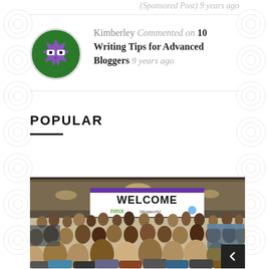(Sponsored Post) 9 years ago
Kimberley Commented on 10 Writing Tips for Advanced Bloggers 9 years ago
POPULAR
[Figure (photo): Crowded conference hall interior with a large 'WELCOME' banner and NMX/BlogWorld branding hanging from the ceiling, with many attendees below.]